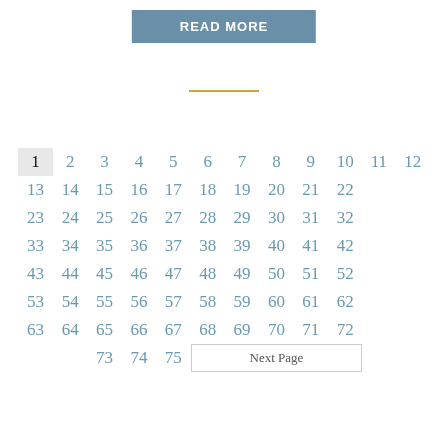READ MORE
| 1 | 2 | 3 | 4 | 5 | 6 | 7 | 8 | 9 | 10 | 11 | 12 |
| 13 | 14 | 15 | 16 | 17 | 18 | 19 | 20 | 21 | 22 |
| 23 | 24 | 25 | 26 | 27 | 28 | 29 | 30 | 31 | 32 |
| 33 | 34 | 35 | 36 | 37 | 38 | 39 | 40 | 41 | 42 |
| 43 | 44 | 45 | 46 | 47 | 48 | 49 | 50 | 51 | 52 |
| 53 | 54 | 55 | 56 | 57 | 58 | 59 | 60 | 61 | 62 |
| 63 | 64 | 65 | 66 | 67 | 68 | 69 | 70 | 71 | 72 |
|  | 73 | 74 | 75 | Next Page |